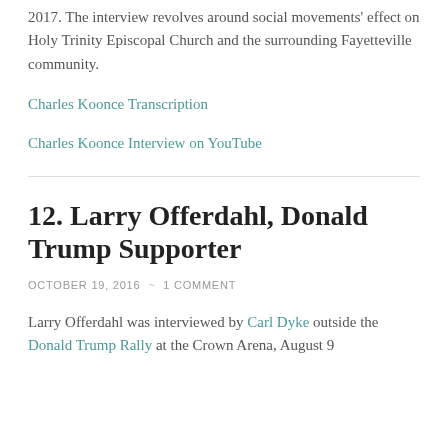2017. The interview revolves around social movements' effect on Holy Trinity Episcopal Church and the surrounding Fayetteville community.
Charles Koonce Transcription
Charles Koonce Interview on YouTube
12. Larry Offerdahl, Donald Trump Supporter
OCTOBER 19, 2016  ~  1 COMMENT
Larry Offerdahl was interviewed by Carl Dyke outside the Donald Trump Rally at the Crown Arena, August 9